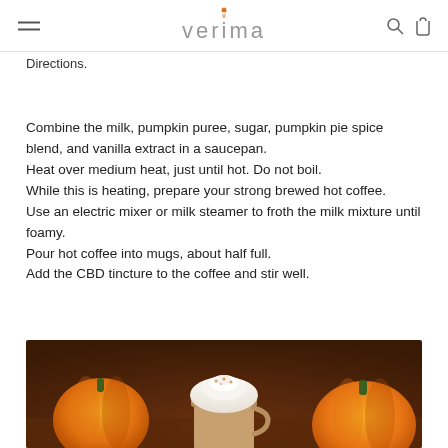verima
Directions.
Combine the milk, pumpkin puree, sugar, pumpkin pie spice blend, and vanilla extract in a saucepan.
Heat over medium heat, just until hot. Do not boil.
While this is heating, prepare your strong brewed hot coffee.
Use an electric mixer or milk steamer to froth the milk mixture until foamy.
Pour hot coffee into mugs, about half full.
Add the CBD tincture to the coffee and stir well.
[Figure (photo): Photo of pumpkins and a whipped cream topped coffee drink on a wooden surface with warm autumn tones]